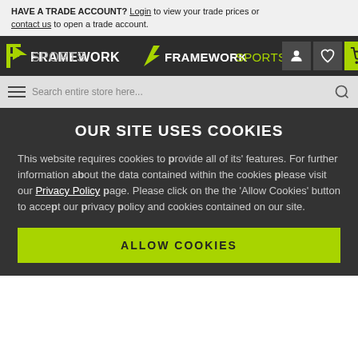HAVE A TRADE ACCOUNT? Login to view your trade prices or contact us to open a trade account.
[Figure (logo): Framework Sports logo - white FS icon with FRAMEWORK in bold white and SPORTS in lighter text on dark background]
OUR SITE USES COOKIES
This website requires cookies to provide all of its' features. For further information about the data contained within the cookies please visit our Privacy Policy page. Please click on the the 'Allow Cookies' button to accept our privacy policy and cookies contained on our site.
ALLOW COOKIES